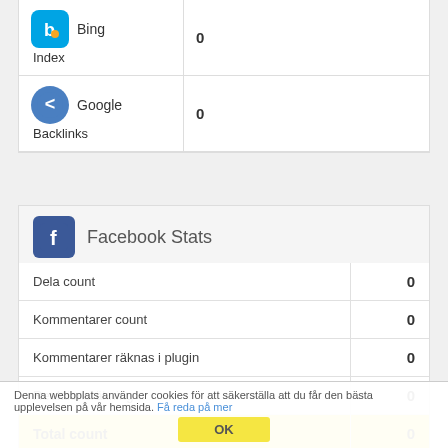|  |  |
| --- | --- |
| Bing Index | 0 |
| Google Backlinks | 0 |
Facebook Stats
|  |  |
| --- | --- |
| Dela count | 0 |
| Kommentarer count | 0 |
| Kommentarer räknas i plugin | 0 |
| Reaktionsräkning | 0 |
| Total count | 0 |
Denna webbplats använder cookies för att säkerställa att du får den bästa upplevelsen på vår hemsida. Få reda på mer